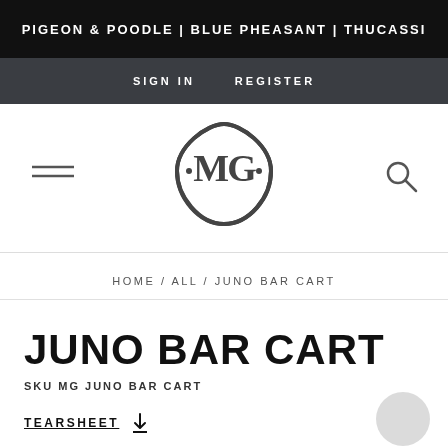PIGEON & POODLE | BLUE PHEASANT | THUCASSI
SIGN IN   REGISTER
[Figure (logo): MGM monogram logo inside a rounded diamond shape, dark gray on white]
HOME / ALL / JUNO BAR CART
JUNO BAR CART
SKU MG JUNO BAR CART
TEARSHEET  ↓
SHARE